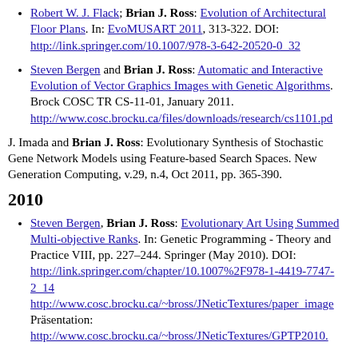Robert W. J. Flack; Brian J. Ross: Evolution of Architectural Floor Plans. In: EvoMUSART 2011, 313-322. DOI: http://link.springer.com/10.1007/978-3-642-20520-0_32
Steven Bergen and Brian J. Ross: Automatic and Interactive Evolution of Vector Graphics Images with Genetic Algorithms. Brock COSC TR CS-11-01, January 2011. http://www.cosc.brocku.ca/files/downloads/research/cs1101.pd
J. Imada and Brian J. Ross: Evolutionary Synthesis of Stochastic Gene Network Models using Feature-based Search Spaces. New Generation Computing, v.29, n.4, Oct 2011, pp. 365-390.
2010
Steven Bergen, Brian J. Ross: Evolutionary Art Using Summed Multi-objective Ranks. In: Genetic Programming - Theory and Practice VIII, pp. 227–244. Springer (May 2010). DOI: http://link.springer.com/chapter/10.1007%2F978-1-4419-7747-2_14 http://www.cosc.brocku.ca/~bross/JNeticTextures/paper_image Präsentation: http://www.cosc.brocku.ca/~bross/JNeticTextures/GPTP2010.